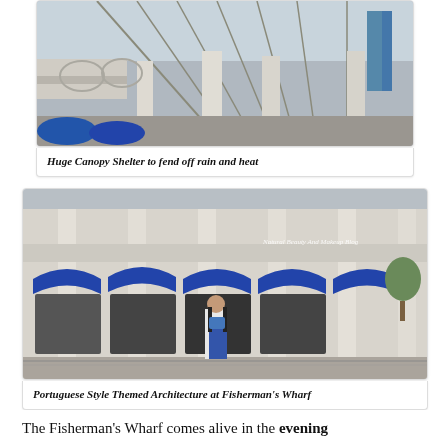[Figure (photo): Interior of a large building with a glass canopy ceiling, tall white columns, and blue-accented architectural details. The photo is taken from a low angle looking upward at the canopy structure.]
Huge Canopy Shelter to fend off rain and heat
[Figure (photo): Exterior of a Portuguese-style white building at Fisherman's Wharf with blue awnings and columns. A woman stands in the foreground on a patterned walkway. A watermark reads 'Natural Beauty And Makeup Blog'.]
Portuguese Style Themed Architecture at Fisherman's Wharf
The Fisherman's Wharf comes alive in the evening